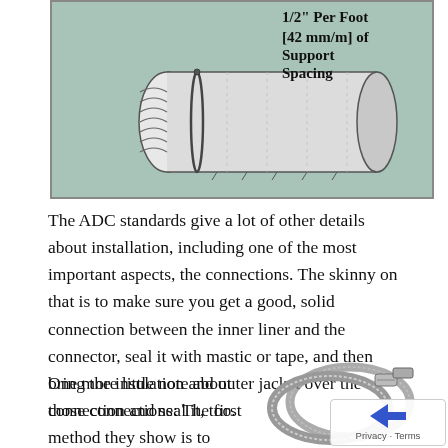[Figure (illustration): Technical illustration of a flexible duct connector on a green background, with text showing '1/2" Per Foot [42 mm/m] of Support Spacing' in the upper right corner.]
The ADC standards give a lot of other details about installation, including one of the most important aspects, the connections. The skinny on that is to make sure you get a good, solid connection between the inner liner and the connector, seal it with mastic or tape, and then bring the insulation and outer jacket over the connection and seal it, too.
One more little note about those connections: The first method they show is to
[Figure (photo): Photo of two metal hose clamps (worm-drive clamps) used for duct connections.]